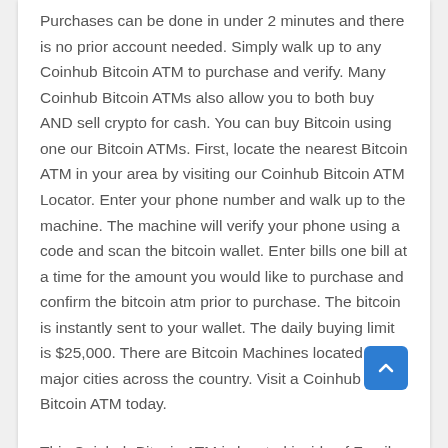Purchases can be done in under 2 minutes and there is no prior account needed. Simply walk up to any Coinhub Bitcoin ATM to purchase and verify. Many Coinhub Bitcoin ATMs also allow you to both buy AND sell crypto for cash. You can buy Bitcoin using one our Bitcoin ATMs. First, locate the nearest Bitcoin ATM in your area by visiting our Coinhub Bitcoin ATM Locator. Enter your phone number and walk up to the machine. The machine will verify your phone using a code and scan the bitcoin wallet. Enter bills one bill at a time for the amount you would like to purchase and confirm the bitcoin atm prior to purchase. The bitcoin is instantly sent to your wallet. The daily buying limit is $25,000. There are Bitcoin Machines located in major cities across the country. Visit a Coinhub Bitcoin ATM today.
This Coinhub Bitcoin ATM is located inside of Family